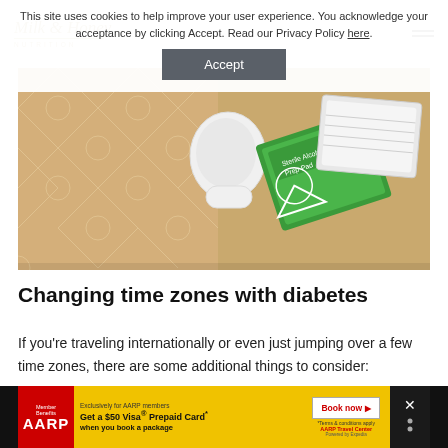Milk & Honey Nutrition (logo)
This site uses cookies to help improve your user experience. You acknowledge your acceptance by clicking Accept. Read our Privacy Policy here.
[Figure (photo): Overhead photo of diabetes supplies on a patterned tile surface: a white insulin pump/CGM device, and several medical supply packets with green and white packaging (sterile alcohol pad packs).]
Changing time zones with diabetes
If you're traveling internationally or even just jumping over a few time zones, there are some additional things to consider:
[Figure (other): AARP advertisement banner: Member Benefits AARP logo on red background, text 'Exclusively for AARP members Get a $50 Visa® Prepaid Card* when you book a package', Book now button, AARP Travel Center powered by Expedia, and close button.]